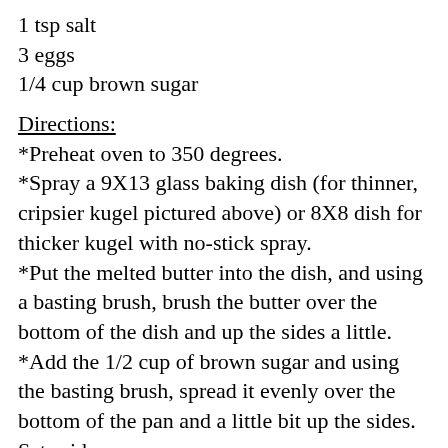1 tsp salt
3 eggs
1/4 cup brown sugar
Directions:
*Preheat oven to 350 degrees. *Spray a 9X13 glass baking dish (for thinner, cripsier kugel pictured above) or 8X8 dish for thicker kugel with no-stick spray. *Put the melted butter into the dish, and using a basting brush, brush the butter over the bottom of the dish and up the sides a little. *Add the 1/2 cup of brown sugar and using the basting brush, spread it evenly over the bottom of the pan and a little bit up the sides. Set aside. *Cook the noodles al dente. While still hot, add the 1/2 stick of butter and the salt and mix until the butter melts into the noodles. Set aside until the noodles cool a little and the eggs can be added without them cooking in the hot noodles, then mix the eggs in completely.